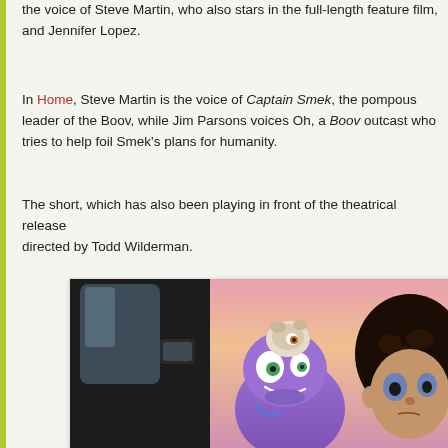the voice of Steve Martin, who also stars in the full-length feature film, and Jennifer Lopez.
In Home, Steve Martin is the voice of Captain Smek, the pompous leader of the Boov, while Jim Parsons voices Oh, a Boov outcast who tries to help foil Smek's plans for humanity.
The short, which has also been playing in front of the theatrical release directed by Todd Wilderman.
[Figure (photo): Animated scene from the movie Home showing a purple alien character (Oh) and a child in a car, with a pink/orange sunset sky in the background. A small animal sits on Oh's head.]